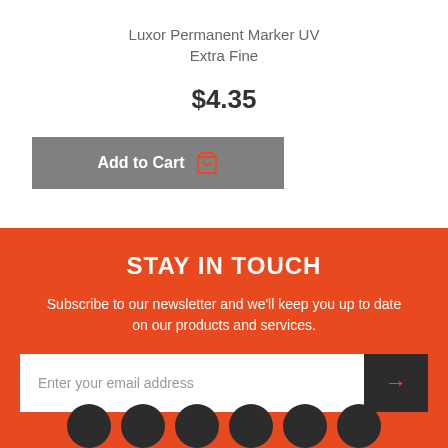Luxor Permanent Marker UV Extra Fine
$4.35
Add to Cart
STAY IN TOUCH
Subscribe to our newsletter and we'll keep you up to date on our products and services.
Enter your email address